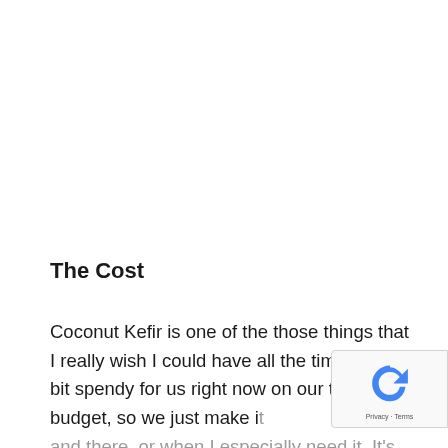The Cost
Coconut Kefir is one of the those things that I really wish I could have all the time! It is a bit spendy for us right now on our tight budget, so we just make it and there, or when I especially need it. It's defini worth the cost though! We have been able to save a